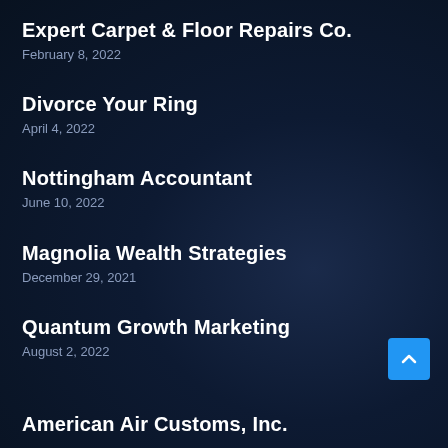Expert Carpet & Floor Repairs Co.
February 8, 2022
Divorce Your Ring
April 4, 2022
Nottingham Accountant
June 10, 2022
Magnolia Wealth Strategies
December 29, 2021
Quantum Growth Marketing
August 2, 2022
American Air Customs, Inc.